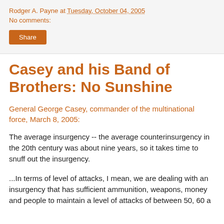Rodger A. Payne at Tuesday, October 04, 2005
No comments:
Share
Casey and his Band of Brothers: No Sunshine
General George Casey, commander of the multinational force, March 8, 2005:
The average insurgency -- the average counterinsurgency in the 20th century was about nine years, so it takes time to snuff out the insurgency.
...In terms of level of attacks, I mean, we are dealing with an insurgency that has sufficient ammunition, weapons, money and people to maintain a level of attacks of between 50, 60 a